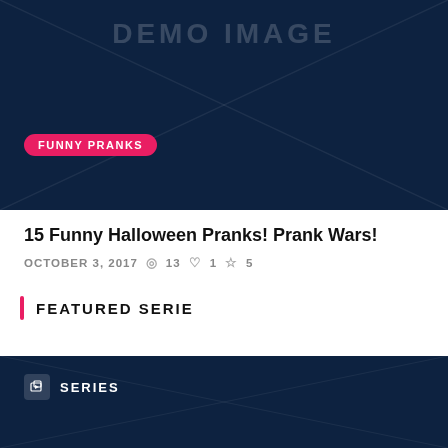[Figure (screenshot): Dark navy blue demo image placeholder with diagonal lines and a pink 'FUNNY PRANKS' badge label]
15 Funny Halloween Pranks! Prank Wars!
OCTOBER 3, 2017  13  1  5
FEATURED SERIE
[Figure (screenshot): Dark navy blue series placeholder image with a series icon and 'SERIES' label in the top left]